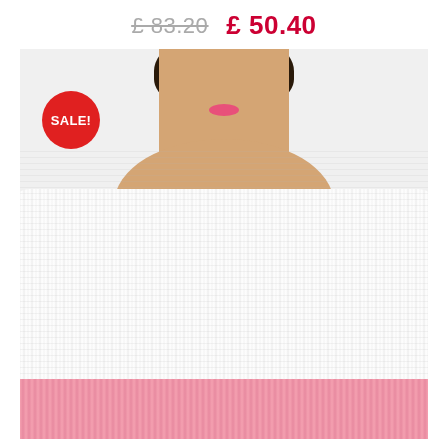£ 83.20   £ 50.40
[Figure (photo): Product photo of a woman wearing a white lace/crochet knit short-sleeve cardigan top over a pink skirt. A red circular 'SALE!' badge is overlaid in the top-left corner of the image.]